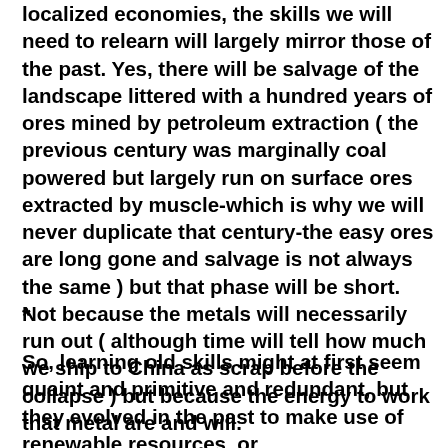localized economies, the skills we will need to relearn will largely mirror those of the past. Yes, there will be salvage of the landscape littered with a hundred years of ores mined by petroleum extraction ( the previous century was marginally coal powered but largely run on surface ores extracted by muscle-which is why we will never duplicate that century-the easy ores are long gone and salvage is not always the same ) but that phase will be short. Not because the metals will necessarily run out ( although time will tell how much we ship to China as scrap before the collapse ) but because the energy to work that metal are and will.
*
So, learning old skills might at first seem quaint and primitive and redundant, but they evolved in the past to make use of renewable resources, or